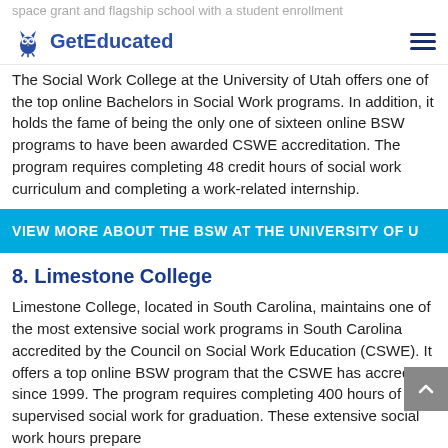space grant and flagship school with a student enrollment
GetEducated
The Social Work College at the University of Utah offers one of the top online Bachelors in Social Work programs. In addition, it holds the fame of being the only one of sixteen online BSW programs to have been awarded CSWE accreditation. The program requires completing 48 credit hours of social work curriculum and completing a work-related internship.
VIEW MORE ABOUT THE BSW AT THE UNIVERSITY OF U
8. Limestone College
Limestone College, located in South Carolina, maintains one of the most extensive social work programs in South Carolina accredited by the Council on Social Work Education (CSWE). It offers a top online BSW program that the CSWE has accredited since 1999. The program requires completing 400 hours of supervised social work for graduation. These extensive social work hours prepare